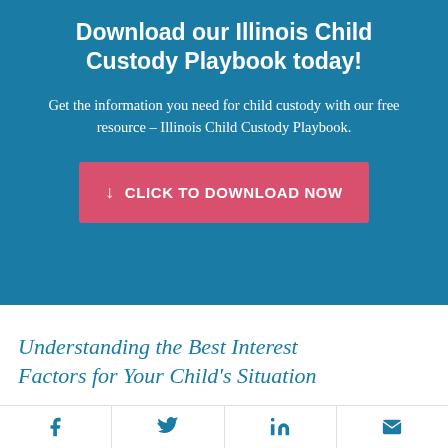Download our Illinois Child Custody Playbook today!
Get the information you need for child custody with our free resource – Illinois Child Custody Playbook.
↓  CLICK TO DOWNLOAD NOW
Understanding the Best Interest Factors for Your Child's Situation
It is important to review these factors and outline how they
Facebook | Twitter | LinkedIn | Email